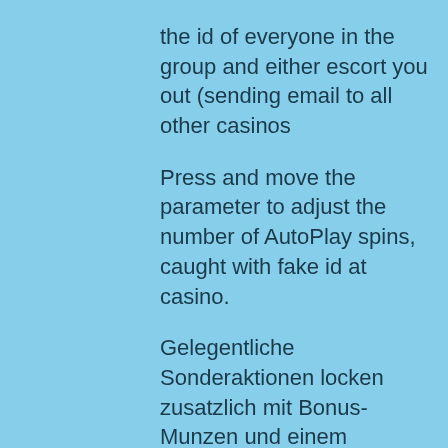the id of everyone in the group and either escort you out (sending email to all other casinos
Press and move the parameter to adjust the number of AutoPlay spins, caught with fake id at casino.
Gelegentliche Sonderaktionen locken zusatzlich mit Bonus-Munzen und einem Erfahrungszuwachs fur alle, die dann zugreifen. Fazit zu den Spielautomaten von Slotomania:Slotomania ist ein witziges Automatenspiel, das mit teils schragen und bunten, teils seriosen Flash Games ein breites Sortiment an unterschiedlichen Maschinen fur dich bereit halt. Dabei gibt es viele Moglichkeiten fur dich, um Coins abzustauben wie beispielsweise die diversen Reihen, Minigames und Bonusgewinne bei besonders seltenen Kombinationen, do fake ids work in vegas clubs.
Some people attempt to use fake ids to circumvent the laws that prohibit individuals